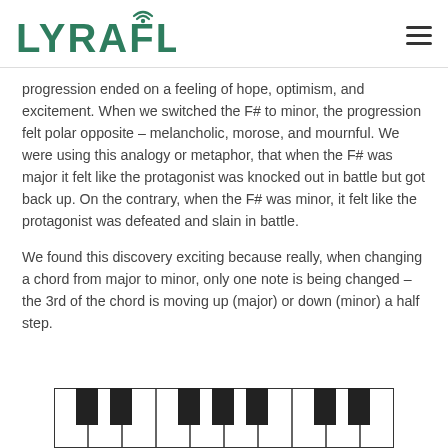LYRAFLÔ
progression ended on a feeling of hope, optimism, and excitement. When we switched the F# to minor, the progression felt polar opposite – melancholic, morose, and mournful. We were using this analogy or metaphor, that when the F# was major it felt like the protagonist was knocked out in battle but got back up. On the contrary, when the F# was minor, it felt like the protagonist was defeated and slain in battle.
We found this discovery exciting because really, when changing a chord from major to minor, only one note is being changed – the 3rd of the chord is moving up (major) or down (minor) a half step.
[Figure (illustration): Partial view of piano keyboard showing white and black keys]